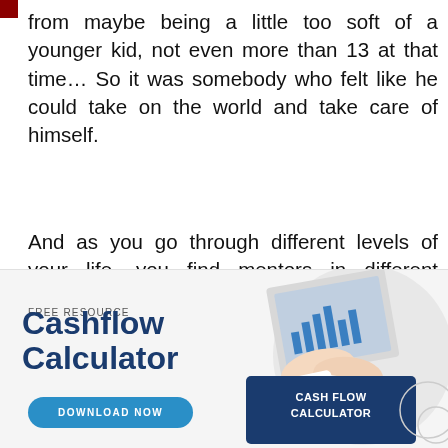from maybe being a little too soft of a younger kid, not even more than 13 at that time… So it was somebody who felt like he could take on the world and take care of himself.
And as you go through different levels of your life, you find mentors in different aspects. I think people are drawn to the type of mentors they need based on where they are in their life,
[Figure (infographic): Advertisement banner for a free resource: Cashflow Calculator with a Download Now button, an image of hands with a tablet and financial charts, and a dark blue card labeled CASH FLOW CALCULATOR. Includes a close (×) button and a blue dot.]